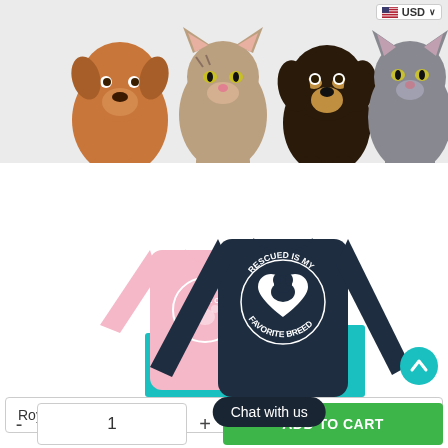[Figure (photo): Four pets (two dogs and two cats) peeking over a white ledge on a light grey background banner]
[Figure (photo): Two long-sleeve shirts: a pink shirt partially behind a navy blue shirt that reads 'RESCUED IS MY FAVORITE BREED' with a heart/paw graphic, displayed on a teal base]
USD
Royal / S
Chat with us
-
1
+
ADD TO CART